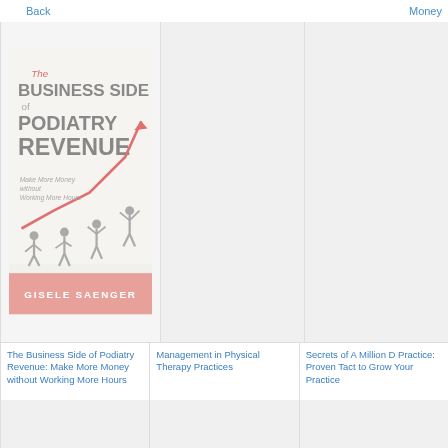Back    Money
[Figure (illustration): Book cover: 'The Business Side of PODIATRY REVENUE - Make More Money without Working More Hours' by GISELE SAENGER. Features a rising red arrow graph with silhouetted figures.]
The Business Side of Podiatry Revenue: Make More Money without Working More Hours
Management in Physical Therapy Practices
Secrets of A Million D Practice: Proven Tact to Grow Your Practice